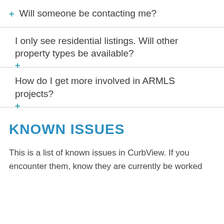+ Will someone be contacting me?
+ I only see residential listings. Will other property types be available?
+ How do I get more involved in ARMLS projects?
KNOWN ISSUES
This is a list of known issues in CurbView. If you encounter them, know they are currently be worked